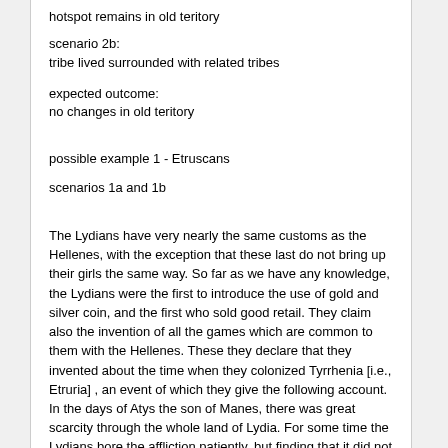hotspot remains in old teritory
scenario 2b:
tribe lived surrounded with related tribes
expected outcome:
no changes in old teritory
possible example 1 - Etruscans
scenarios 1a and 1b
The Lydians have very nearly the same customs as the Hellenes, with the exception that these last do not bring up their girls the same way. So far as we have any knowledge, the Lydians were the first to introduce the use of gold and silver coin, and the first who sold good retail. They claim also the invention of all the games which are common to them with the Hellenes. These they declare that they invented about the time when they colonized Tyrrhenia [i.e., Etruria] , an event of which they give the following account. In the days of Atys the son of Manes, there was great scarcity through the whole land of Lydia. For some time the Lydians bore the affliction patiently, but finding that it did not pass away, they set to work to devise remedies for the evil. Various expedients were discovered by various persons: dice, knuckle-bones, and ball, and all such games were invented, except checkers, the invention of which they do not claim as theirs. The plan adopted against the famine was to engage in games one day so entirely as not to feel any craving for food, and the next day to eat and abstain from games. In this way they passed eighteen years.
Still the affliction continued, and even became worse. So the king determined to divide the nation in half, and to make the two portions draw lots, the one to stay, the other to leave the land. He would continue to reign over those whose lot it should be to remain behind; the emigrants should have his son Tyrrhenus for their leader. The lot was cast, and they who had to emigrate went down to Smyrna, and built themselves ships, in which, after they had put on board all needful stores, they sailed away in search of new homes and better sustenance. After sailing past many countries, they came to Umbria, where